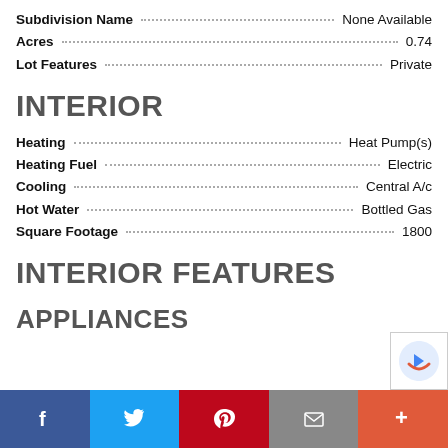Subdivision Name: None Available
Acres: 0.74
Lot Features: Private
INTERIOR
Heating: Heat Pump(s)
Heating Fuel: Electric
Cooling: Central A/c
Hot Water: Bottled Gas
Square Footage: 1800
INTERIOR FEATURES
APPLIANCES